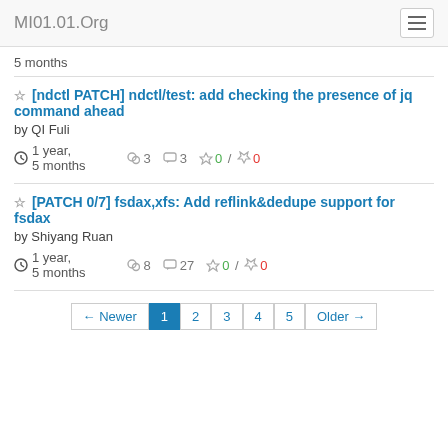MI01.01.Org
5 months
[ndctl PATCH] ndctl/test: add checking the presence of jq command ahead
by QI Fuli
1 year, 5 months  3  3  0 / 0
[PATCH 0/7] fsdax,xfs: Add reflink&dedupe support for fsdax
by Shiyang Ruan
1 year, 5 months  8  27  0 / 0
← Newer  1  2  3  4  5  Older →